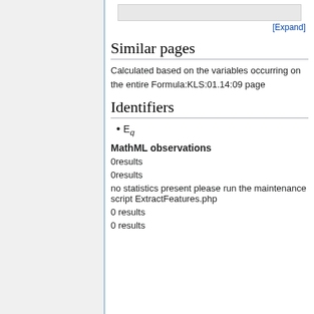Similar pages
Calculated based on the variables occurring on the entire Formula:KLS:01.14:09 page
Identifiers
E_q
MathML observations
0results
0results
no statistics present please run the maintenance script ExtractFeatures.php
0 results
0 results